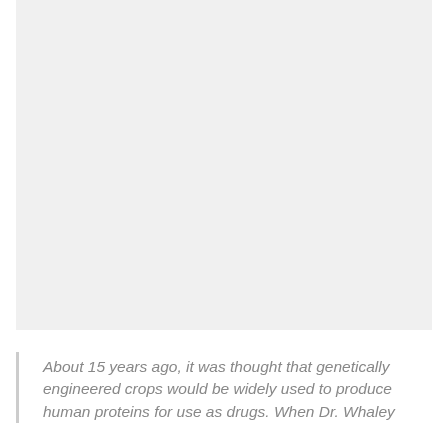[Figure (photo): A large light gray rectangular image placeholder occupying the upper portion of the page]
About 15 years ago, it was thought that genetically engineered crops would be widely used to produce human proteins for use as drugs. When Dr. Whaley